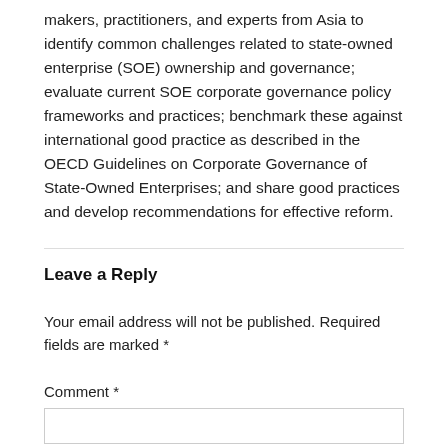makers, practitioners, and experts from Asia to identify common challenges related to state-owned enterprise (SOE) ownership and governance; evaluate current SOE corporate governance policy frameworks and practices; benchmark these against international good practice as described in the OECD Guidelines on Corporate Governance of State-Owned Enterprises; and share good practices and develop recommendations for effective reform.
Leave a Reply
Your email address will not be published. Required fields are marked *
Comment *